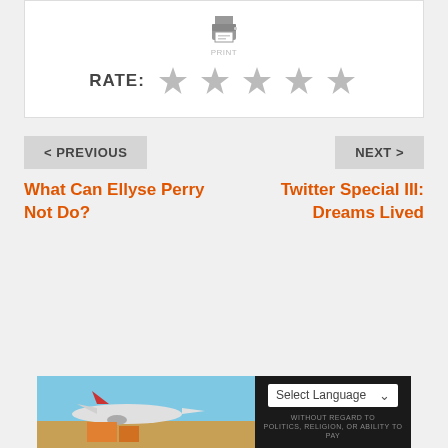[Figure (infographic): Print icon at top center of white card]
RATE:
[Figure (infographic): Five grey star rating icons]
< PREVIOUS
What Can Ellyse Perry Not Do?
NEXT >
Twitter Special III: Dreams Lived
[Figure (infographic): Bottom banner with airplane cargo image on left and 'Select Language' dropdown with 'WITHOUT REGARD TO' text on right]